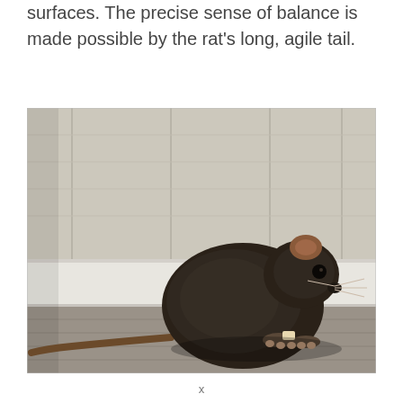surfaces. The precise sense of balance is made possible by the rat's long, agile tail.
[Figure (photo): A dark brown/black rat crouched on a wooden floor against a light wood-paneled wall, appearing to nibble something with its paws.]
x